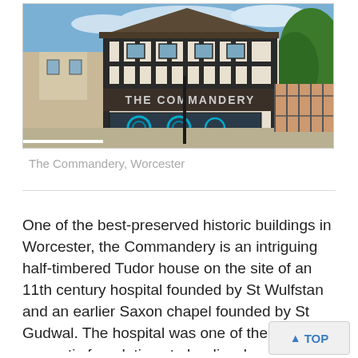[Figure (photo): Photograph of The Commandery in Worcester, a black-and-white half-timbered Tudor building with a modern shopfront showing circular display graphics. The sign 'THE COMMANDERY' is visible on the facade. Adjacent buildings and street are visible.]
The Commandery, Worcester
One of the best-preserved historic buildings in Worcester, the Commandery is an intriguing half-timbered Tudor house on the site of an 11th century hospital founded by St Wulfstan and an earlier Saxon chapel founded by St Gudwal. The hospital was one of the la monastic foundations to be dissolved by Hen